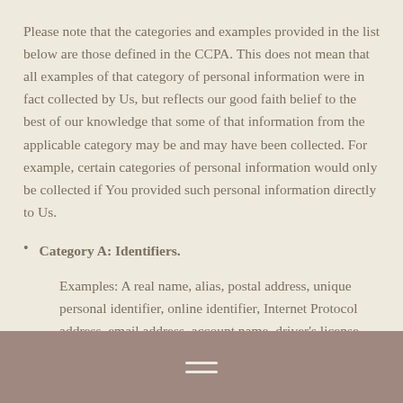Please note that the categories and examples provided in the list below are those defined in the CCPA. This does not mean that all examples of that category of personal information were in fact collected by Us, but reflects our good faith belief to the best of our knowledge that some of that information from the applicable category may be and may have been collected. For example, certain categories of personal information would only be collected if You provided such personal information directly to Us.
Category A: Identifiers.
Examples: A real name, alias, postal address, unique personal identifier, online identifier, Internet Protocol address, email address, account name, driver's license...
☰